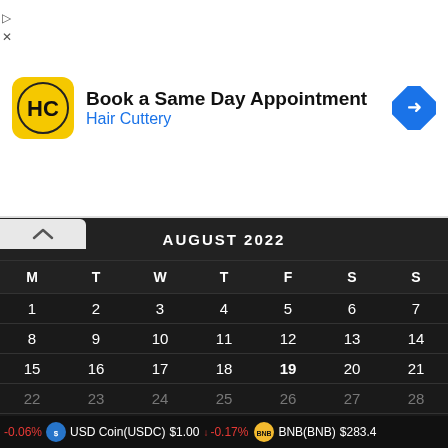[Figure (infographic): Hair Cuttery advertisement banner: logo (HC in yellow circle), text 'Book a Same Day Appointment' and 'Hair Cuttery', blue navigation arrow icon on the right]
[Figure (screenshot): August 2022 calendar displayed on dark background. Header shows 'AUGUST 2022'. Days of week: M T W T F S S. Dates 1-31 shown in a grid, with 19 bolded (current day highlighted). Dates 22-31 shown in gray. Collapse chevron tab in upper left.]
USD Coin(USDC) $1.00 -0.17% | BNB(BNB) $283.4 | -0.06%